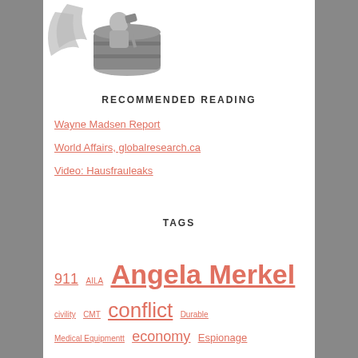[Figure (illustration): Grayscale illustration of a figure with a barrel or bucket, wing-like shapes on the left side]
RECOMMENDED READING
Wayne Madsen Report
World Affairs, globalresearch.ca
Video: Hausfrauleaks
TAGS
911 AILA Angela Merkel civility CMT conflict Durable Medical Equipmentt economy Espionage europe Handicap